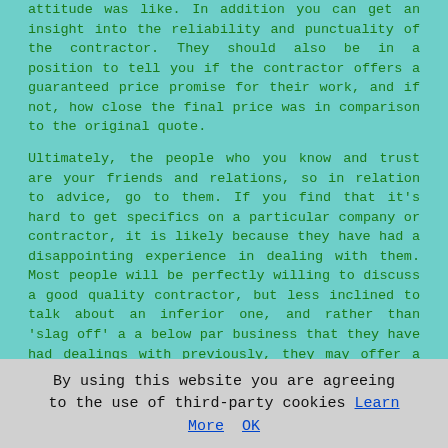attitude was like. In addition you can get an insight into the reliability and punctuality of the contractor. They should also be in a position to tell you if the contractor offers a guaranteed price promise for their work, and if not, how close the final price was in comparison to the original quote.
Ultimately, the people who you know and trust are your friends and relations, so in relation to advice, go to them. If you find that it's hard to get specifics on a particular company or contractor, it is likely because they have had a disappointing experience in dealing with them. Most people will be perfectly willing to discuss a good quality contractor, but less inclined to talk about an inferior one, and rather than 'slag off' a a below par business that they have had dealings with previously, they may offer a different company.
[Figure (other): Call-to-action button with cyan gradient background and bold red text reading 'CLICK HERE FOR A QUOTE >>']
Damp Proofing Near Bedworth
By using this website you are agreeing to the use of third-party cookies Learn More  OK